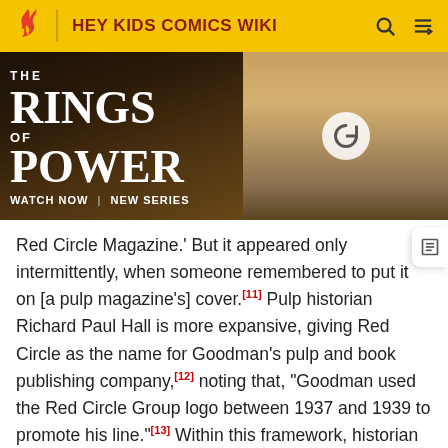HEY KIDS COMICS WIKI
[Figure (screenshot): Advertisement banner for 'The Rings of Power' streaming series with text 'WATCH NOW | NEW SERIES' and two scene images with a reload button overlay.]
Red Circle Magazine.' But it appeared only intermittently, when someone remembered to put it on [a pulp magazine's] cover.[11] Pulp historian Richard Paul Hall is more expansive, giving Red Circle as the name for Goodman's pulp and book publishing company,[12] noting that, "Goodman used the Red Circle Group logo between 1937 and 1939 to promote his line."[13] Within this framework, historian Jess Nevins writes that, "Timely Publications [was how] Goodman's group [of companies] had become known; before this it was known as 'Red Circle' because of the logo that Goodman had put on his